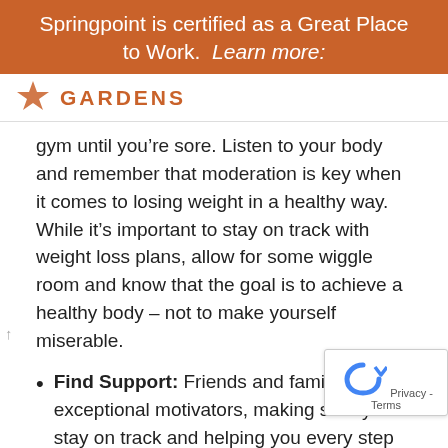Springpoint is certified as a Great Place to Work.  Learn more:
GARDENS
gym until you’re sore. Listen to your body and remember that moderation is key when it comes to losing weight in a healthy way. While it’s important to stay on track with weight loss plans, allow for some wiggle room and know that the goal is to achieve a healthy body – not to make yourself miserable.
Find Support: Friends and family are exceptional motivators, making sure you stay on track and helping you every step of the way. And, always seek a doctor’s opinion when making lifestyle changes. Not only will a